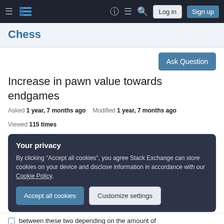Chess Stack Exchange navigation bar with Log in and Sign up buttons
Chess
Increase in pawn value towards endgames
Asked 1 year, 7 months ago   Modified 1 year, 7 months ago   Viewed 115 times
Your privacy
By clicking "Accept all cookies", you agree Stack Exchange can store cookies on your device and disclose information in accordance with our Cookie Policy.
Accept all cookies   Customize settings
between these two depending on the amount of